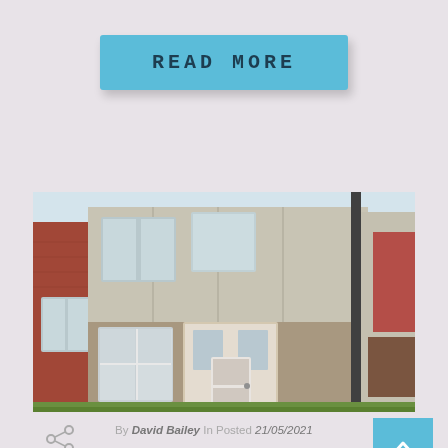READ MORE
[Figure (photo): Exterior photo of a terraced house with grey/cream painted render, white uPVC windows and front door, grass front garden, with a brick building visible to the left and red-brick apartments visible to the right in the background.]
By David Bailey In Posted 21/05/2021
HATFIELDS #3
E15 House Share This five bedroom house